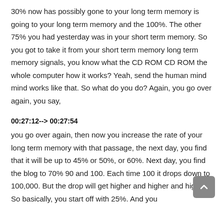30% now has possibly gone to your long term memory is going to your long term memory and the 100%. The other 75% you had yesterday was in your short term memory. So you got to take it from your short term memory long term memory signals, you know what the CD ROM CD ROM the whole computer how it works? Yeah, send the human mind mind works like that. So what do you do? Again, you go over again, you say,
00:27:12--> 00:27:54
you go over again, then now you increase the rate of your long term memory with that passage, the next day, you find that it will be up to 45% or 50%, or 60%. Next day, you find the blog to 70% 90 and 100. Each time 100 it drops down to 100,000. But the drop will get higher and higher and higher. So basically, you start off with 25%. And you